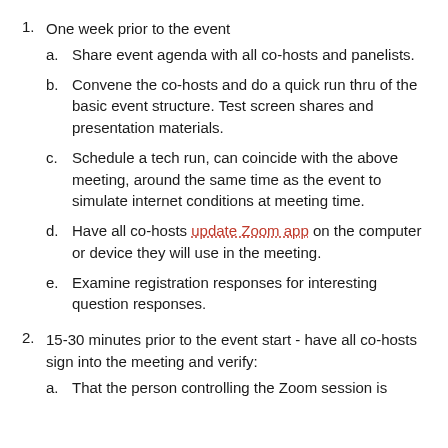1. One week prior to the event
a. Share event agenda with all co-hosts and panelists.
b. Convene the co-hosts and do a quick run thru of the basic event structure. Test screen shares and presentation materials.
c. Schedule a tech run, can coincide with the above meeting, around the same time as the event to simulate internet conditions at meeting time.
d. Have all co-hosts update Zoom app on the computer or device they will use in the meeting.
e. Examine registration responses for interesting question responses.
2. 15-30 minutes prior to the event start - have all co-hosts sign into the meeting and verify:
a. That the person controlling the Zoom session is